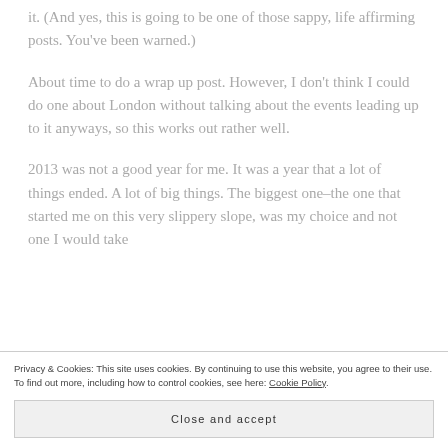it. (And yes, this is going to be one of those sappy, life affirming posts. You've been warned.)
About time to do a wrap up post. However, I don't think I could do one about London without talking about the events leading up to it anyways, so this works out rather well.
2013 was not a good year for me. It was a year that a lot of things ended. A lot of big things. The biggest one–the one that started me on this very slippery slope, was my choice and not one I would take
Privacy & Cookies: This site uses cookies. By continuing to use this website, you agree to their use.
To find out more, including how to control cookies, see here: Cookie Policy
Close and accept